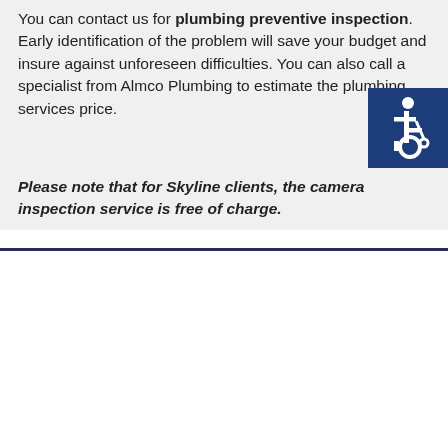You can contact us for plumbing preventive inspection. Early identification of the problem will save your budget and insure against unforeseen difficulties. You can also call a specialist from Almco Plumbing to estimate the plumbing services price.
[Figure (illustration): Blue square with white wheelchair accessibility icon]
Please note that for Skyline clients, the camera inspection service is free of charge.
DRAIN CLEANING IN SKYLINE
Drain cleaning is a gentle method of clearing clogged pipes. The use of chemicals such as sodium chloride corrodes pipes, leading to leaks. Having saved on drain cleaning, you will later have to pay for the replacement of